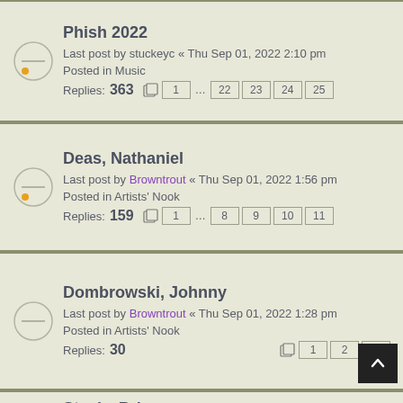Phish 2022 — Last post by stuckeyc « Thu Sep 01, 2022 2:10 pm — Posted in Music — Replies: 363 — Pages: 1 ... 22 23 24 25
Deas, Nathaniel — Last post by Browntrout « Thu Sep 01, 2022 1:56 pm — Posted in Artists' Nook — Replies: 159 — Pages: 1 ... 8 9 10 11
Dombrowski, Johnny — Last post by Browntrout « Thu Sep 01, 2022 1:28 pm — Posted in Artists' Nook — Replies: 30 — Pages: 1 2 3
Steely, Brian